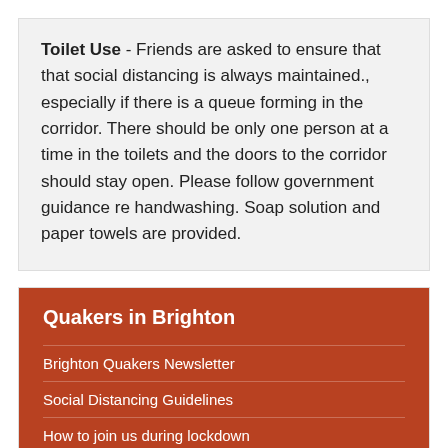Toilet Use - Friends are asked to ensure that that social distancing is always maintained., especially if there is a queue forming in the corridor. There should be only one person at a time in the toilets and the doors to the corridor should stay open. Please follow government guidance re handwashing. Soap solution and paper towels are provided.
Quakers in Brighton
Brighton Quakers Newsletter
Social Distancing Guidelines
How to join us during lockdown